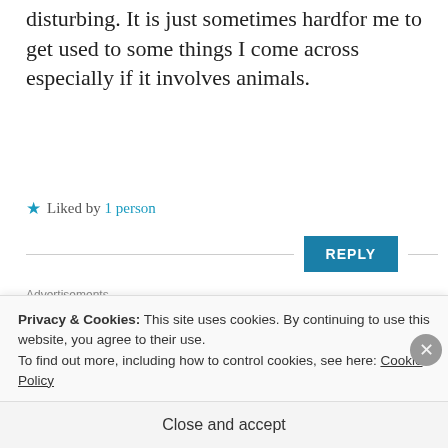disturbing. It is just sometimes hardfor me to get used to some things I come across especially if it involves animals.
★ Liked by 1 person
REPLY
Advertisements
[Figure (infographic): Dark advertisement banner with bonsai tree icon and text 'Teach freely — Make money selling online courses.']
Privacy & Cookies: This site uses cookies. By continuing to use this website, you agree to their use.
To find out more, including how to control cookies, see here: Cookie Policy
Close and accept